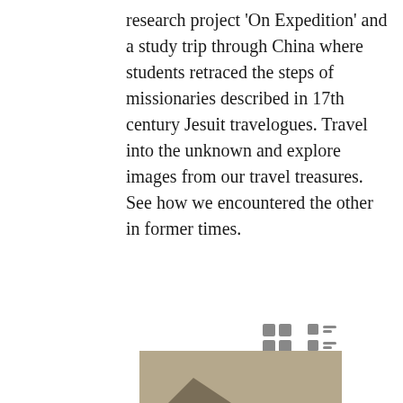research project 'On Expedition' and a study trip through China where students retraced the steps of missionaries described in 17th century Jesuit travelogues. Travel into the unknown and explore images from our travel treasures. See how we encountered the other in former times.
[Figure (photo): Sepia-toned photograph of rocky coastal cliffs with water, shown as a thumbnail image]
A Voyage to the Pacific Ocean
In collections